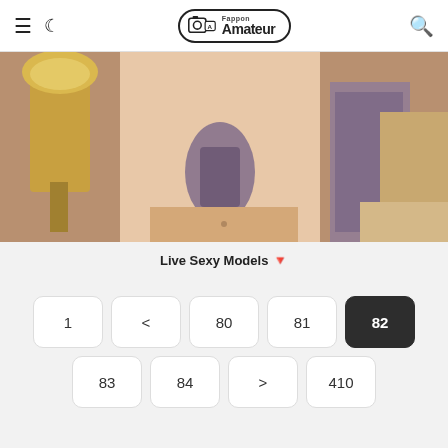≡ 🌙 Fappon Amateur | Search
[Figure (photo): Cropped photo of a blonde woman with tattoos in a hotel room setting with a lamp visible]
Live Sexy Models 🌑
Pagination: 1, <, 80, 81, 82 (active), 83, 84, >, 410